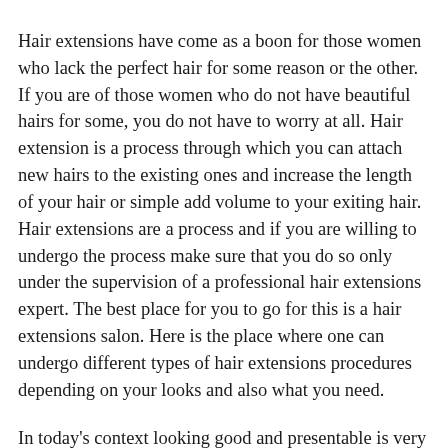Hair extensions have come as a boon for those women who lack the perfect hair for some reason or the other. If you are of those women who do not have beautiful hairs for some, you do not have to worry at all. Hair extension is a process through which you can attach new hairs to the existing ones and increase the length of your hair or simple add volume to your exiting hair. Hair extensions are a process and if you are willing to undergo the process make sure that you do so only under the supervision of a professional hair extensions expert. The best place for you to go for this is a hair extensions salon. Here is the place where one can undergo different types of hair extensions procedures depending on your looks and also what you need.
In today's context looking good and presentable is very important for being successful in your personal, social and